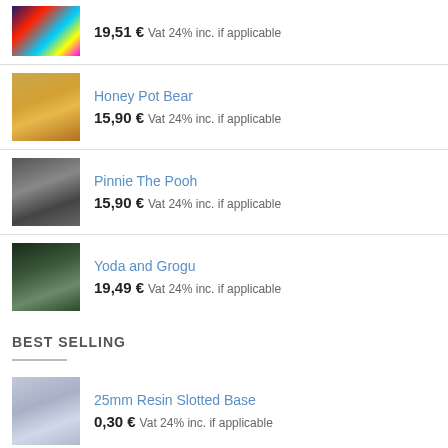19,51 € Vat 24% inc. if applicable
Honey Pot Bear
15,90 € Vat 24% inc. if applicable
Pinnie The Pooh
15,90 € Vat 24% inc. if applicable
Yoda and Grogu
19,49 € Vat 24% inc. if applicable
BEST SELLING
25mm Resin Slotted Base
0,30 € Vat 24% inc. if applicable